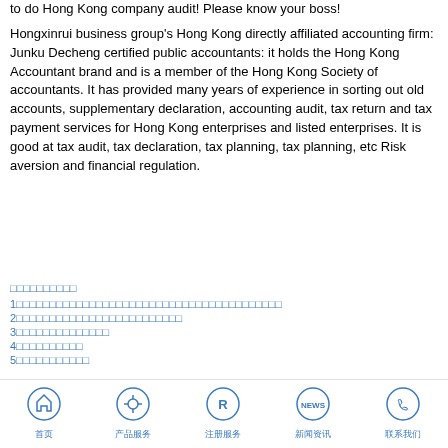to do Hong Kong company audit! Please know your boss!
Hongxinrui business group's Hong Kong directly affiliated accounting firm: Junku Decheng certified public accountants: it holds the Hong Kong Accountant brand and is a member of the Hong Kong Society of accountants. It has provided many years of experience in sorting out old accounts, supplementary declaration, accounting audit, tax return and tax payment services for Hong Kong enterprises and listed enterprises. It is good at tax audit, tax declaration, tax planning, tax planning, etc Risk aversion and financial regulation.
□□□□□□□□□□
1□□□□□□□□□□□□□□□□□□□□□□□□□□□□□□□□□□□□□□□□
2□□□□□□□□□□□□□□□□□□□□□□□□□
3□□□□□□□□□□□□□□
4□□□□□□□□□□
5□□□□□□□□□□□
首页  产品服务  注册服务  新闻资讯  联系我们